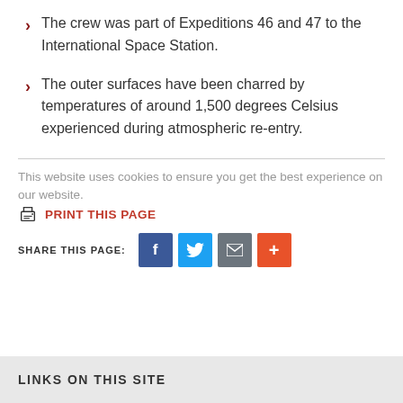The crew was part of Expeditions 46 and 47 to the International Space Station.
The outer surfaces have been charred by temperatures of around 1,500 degrees Celsius experienced during atmospheric re-entry.
This website uses cookies to ensure you get the best experience on our website.
PRINT THIS PAGE
SHARE THIS PAGE:
LINKS ON THIS SITE